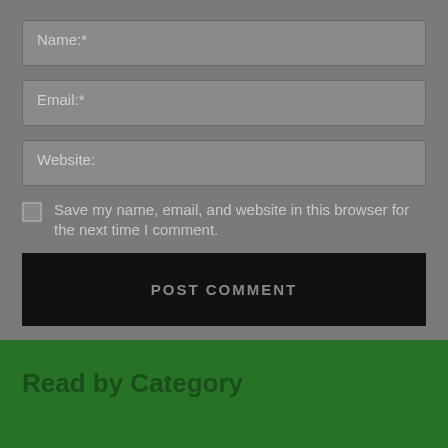Name:*
Email:*
Website:
Save my name, email, and website in this browser for the next time I comment.
POST COMMENT
Read by Category